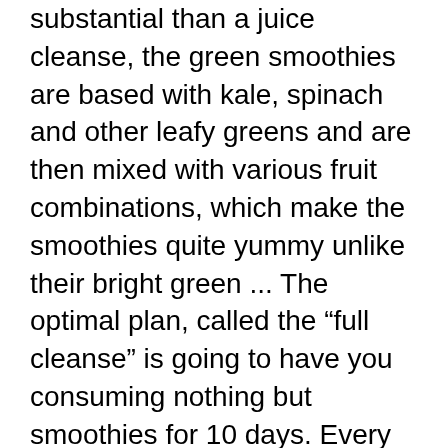substantial than a juice cleanse, the green smoothies are based with kale, spinach and other leafy greens and are then mixed with various fruit combinations, which make the smoothies quite yummy unlike their bright green ... The optimal plan, called the “full cleanse” is going to have you consuming nothing but smoothies for 10 days. Every smoothie is about 60 oz (3 smoothies) and should be consumed every 3 or 4 hours, or usually when you get hungry. You can drink water (8 glasses a day) or laxative tea and for foods,...
10 Day Smoothie Cleanse is one unique cleanse and weight loss program, and